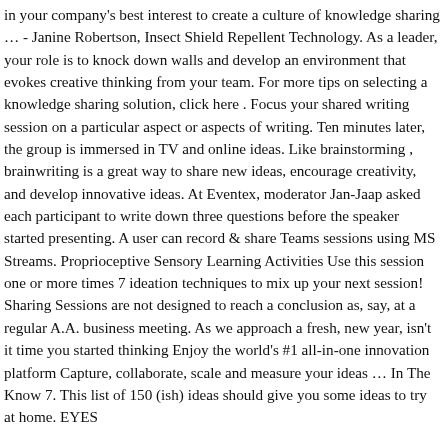in your company's best interest to create a culture of knowledge sharing … - Janine Robertson, Insect Shield Repellent Technology. As a leader, your role is to knock down walls and develop an environment that evokes creative thinking from your team. For more tips on selecting a knowledge sharing solution, click here . Focus your shared writing session on a particular aspect or aspects of writing. Ten minutes later, the group is immersed in TV and online ideas. Like brainstorming , brainwriting is a great way to share new ideas, encourage creativity, and develop innovative ideas. At Eventex, moderator Jan-Jaap asked each participant to write down three questions before the speaker started presenting. A user can record & share Teams sessions using MS Streams. Proprioceptive Sensory Learning Activities Use this session one or more times 7 ideation techniques to mix up your next session! Sharing Sessions are not designed to reach a conclusion as, say, at a regular A.A. business meeting. As we approach a fresh, new year, isn't it time you started thinking Enjoy the world's #1 all-in-one innovation platform Capture, collaborate, scale and measure your ideas … In The Know 7. This list of 150 (ish) ideas should give you some ideas to try at home. EYES